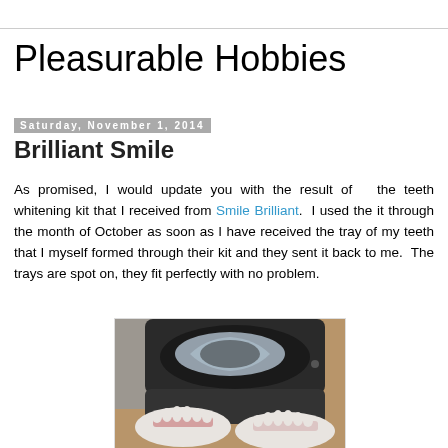Pleasurable Hobbies
Saturday, November 1, 2014
Brilliant Smile
As promised, I would update you with the result of  the teeth whitening kit that I received from Smile Brilliant.  I used the it through the month of October as soon as I have received the tray of my teeth that I myself formed through their kit and they sent it back to me.  The trays are spot on, they fit perfectly with no problem.
[Figure (photo): Photo of teeth whitening trays in a black case alongside two white dental mold impressions showing teeth marks]